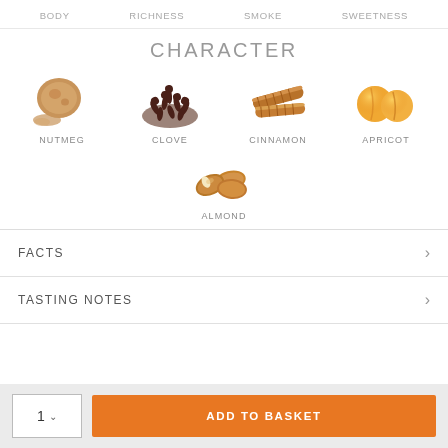BODY  RICHNESS  SMOKE  SWEETNESS
CHARACTER
[Figure (illustration): Nutmeg spice illustration]
NUTMEG
[Figure (illustration): Clove spice illustration]
CLOVE
[Figure (illustration): Cinnamon sticks illustration]
CINNAMON
[Figure (illustration): Apricot fruit illustration]
APRICOT
[Figure (illustration): Almond nuts illustration]
ALMOND
FACTS
TASTING NOTES
1  ADD TO BASKET